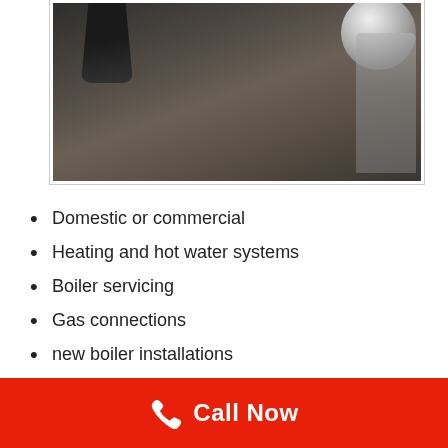[Figure (photo): Close-up photo of a kitchen sink basin with a black faucet on the left and a chrome faucet/tap on the right, showing a dark stainless steel or granite composite sink.]
Domestic or commercial
Heating and hot water systems
Boiler servicing
Gas connections
new boiler installations
For landlords and property agents CP12 (Landlord) inspections
Call Now